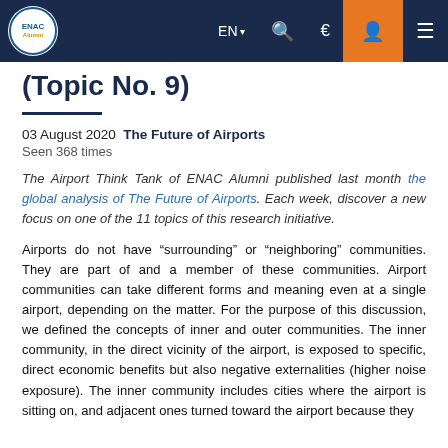EN  Search  Euro  User  Menu
(Topic No. 9)
03 August 2020  The Future of Airports
Seen 368 times
The Airport Think Tank of ENAC Alumni published last month the global analysis of The Future of Airports. Each week, discover a new focus on one of the 11 topics of this research initiative.
Airports do not have “surrounding” or “neighboring” communities. They are part of and a member of these communities. Airport communities can take different forms and meaning even at a single airport, depending on the matter. For the purpose of this discussion, we defined the concepts of inner and outer communities. The inner community, in the direct vicinity of the airport, is exposed to specific, direct economic benefits but also negative externalities (higher noise exposure). The inner community includes cities where the airport is sitting on, and adjacent ones turned toward the airport because they